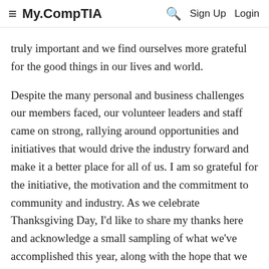My.CompTIA  Sign Up  Login
truly important and we find ourselves more grateful for the good things in our lives and world.
Despite the many personal and business challenges our members faced, our volunteer leaders and staff came on strong, rallying around opportunities and initiatives that would drive the industry forward and make it a better place for all of us. I am so grateful for the initiative, the motivation and the commitment to community and industry. As we celebrate Thanksgiving Day, I'd like to share my thanks here and acknowledge a small sampling of what we've accomplished this year, along with the hope that we will do even more in 2022.
Returning to Live Events. It was such a thrill to be able to host our EMEA Member and Partner Conference live, in London, our first big in-person event...